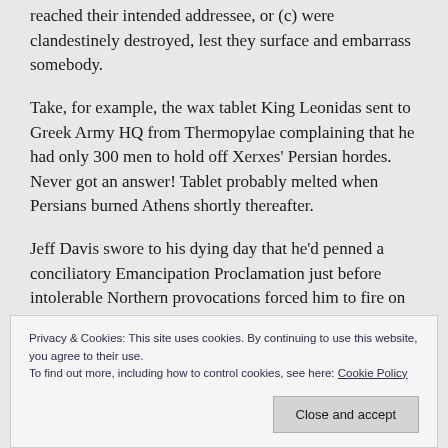reached their intended addressee, or (c) were clandestinely destroyed, lest they surface and embarrass somebody.
Take, for example, the wax tablet King Leonidas sent to Greek Army HQ from Thermopylae complaining that he had only 300 men to hold off Xerxes' Persian hordes. Never got an answer! Tablet probably melted when Persians burned Athens shortly thereafter.
Jeff Davis swore to his dying day that he'd penned a conciliatory Emancipation Proclamation just before intolerable Northern provocations forced him to fire on
Privacy & Cookies: This site uses cookies. By continuing to use this website, you agree to their use.
To find out more, including how to control cookies, see here: Cookie Policy